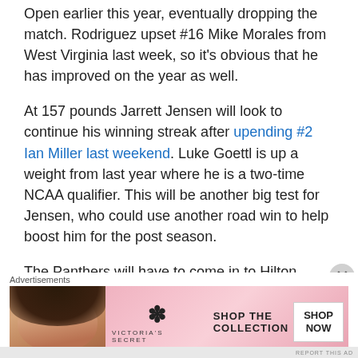Open earlier this year, eventually dropping the match. Rodriguez upset #16 Mike Morales from West Virginia last week, so it's obvious that he has improved on the year as well.
At 157 pounds Jarrett Jensen will look to continue his winning streak after upending #2 Ian Miller last weekend. Luke Goettl is up a weight from last year where he is a two-time NCAA qualifier. This will be another big test for Jensen, who could use another road win to help boost him for the post season.
The Panthers will have to come in to Hilton Arena with the a stronger mentality than they
Advertisements
[Figure (photo): Victoria's Secret advertisement banner with a woman model, VS logo, 'SHOP THE COLLECTION' text, and 'SHOP NOW' button]